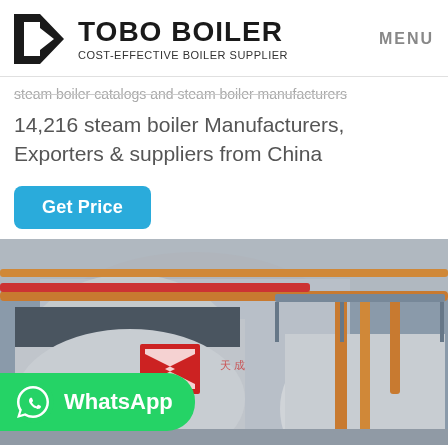TOBO BOILER COST-EFFECTIVE BOILER SUPPLIER | MENU
steam boiler catalogs and steam boiler manufacturers
14,216 steam boiler Manufacturers, Exporters & suppliers from China
Get Price
[Figure (photo): Industrial boiler room with large cylindrical silver/grey boilers, red Chinese branding, orange copper pipes overhead and to the right, inside a warehouse-style facility. A green WhatsApp button overlay is visible at the bottom left.]